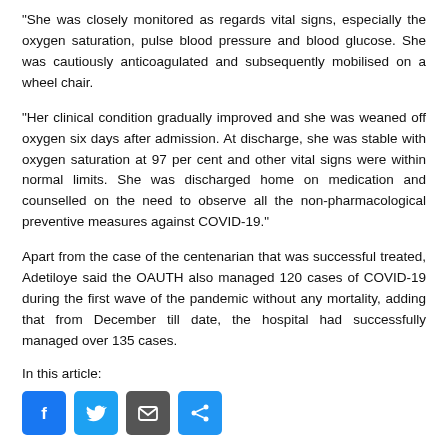“She was closely monitored as regards vital signs, especially the oxygen saturation, pulse blood pressure and blood glucose. She was cautiously anticoagulated and subsequently mobilised on a wheel chair.
“Her clinical condition gradually improved and she was weaned off oxygen six days after admission. At discharge, she was stable with oxygen saturation at 97 per cent and other vital signs were within normal limits. She was discharged home on medication and counselled on the need to observe all the non-pharmacological preventive measures against COVID-19.”
Apart from the case of the centenarian that was successful treated, Adetiloye said the OAUTH also managed 120 cases of COVID-19 during the first wave of the pandemic without any mortality, adding that from December till date, the hospital had successfully managed over 135 cases.
In this article:
[Figure (infographic): Row of four social media share buttons: Facebook (blue), Twitter (light blue), Email (dark grey), Share (blue)]